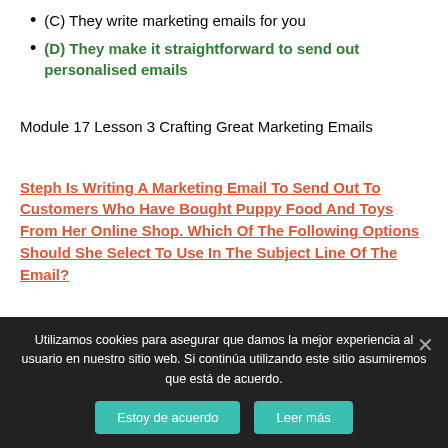(C) They write marketing emails for you
(D) They make it straightforward to send out personalised emails
Module 17 Lesson 3 Crafting Great Marketing Emails
Steph Is Writing A Marketing Email To Send Out To Customers Who Have Bought Puppy Food And Toys From Her Online Shop. Which Of The Following Options Should She Select To Use In The Subject Line Of The Email?
Utilizamos cookies para asegurar que damos la mejor experiencia al usuario en nuestro sitio web. Si continúa utilizando este sitio asumiremos que está de acuerdo.